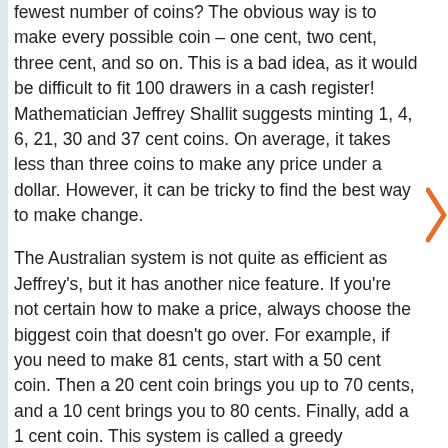fewest number of coins? The obvious way is to make every possible coin – one cent, two cent, three cent, and so on. This is a bad idea, as it would be difficult to fit 100 drawers in a cash register! Mathematician Jeffrey Shallit suggests minting 1, 4, 6, 21, 30 and 37 cent coins. On average, it takes less than three coins to make any price under a dollar. However, it can be tricky to find the best way to make change.
The Australian system is not quite as efficient as Jeffrey's, but it has another nice feature. If you're not certain how to make a price, always choose the biggest coin that doesn't go over. For example, if you need to make 81 cents, start with a 50 cent coin. Then a 20 cent coin brings you up to 70 cents, and a 10 cent brings you to 80 cents. Finally, add a 1 cent coin. This system is called a greedy algorithm, and it's a quick and easy way to make up money totals. And with the Australian system of coins, the greedy algorithm always finds the fewest number of coins to make a price!
The special prices in this activity, 1, 2, 5, 13, 29 and 64 were also developed by Jeffrey, and they also work well with greedy change making. However, it can be tricky adding the numbers up in your head. So which set of coins do you